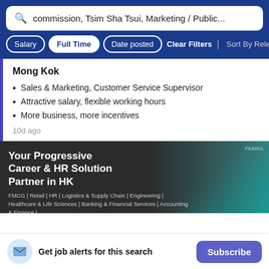commission, Tsim Sha Tsui, Marketing / Public...
Salary | Full Time | Date posted | Clear Filters | Sort By Rele...
Mong Kok
Sales & Marketing, Customer Service Supervisor
Attractive salary, flexible working hours
More business, more incentives
10d ago
[Figure (screenshot): Advertisement banner: 'Your Progressive Career & HR Solution Partner in HK' with industry sectors listed and a teal geometric overlay on a dark background. FMCG | Retail | HR | Logistics & Supply Chain | Engineering | Healthcare & Life Sciences | Banking & Financial Services | Accounting & Finance | Information Technology & Telecommunication | Insurance | Real Estate]
Get job alerts for this search
Subscribe